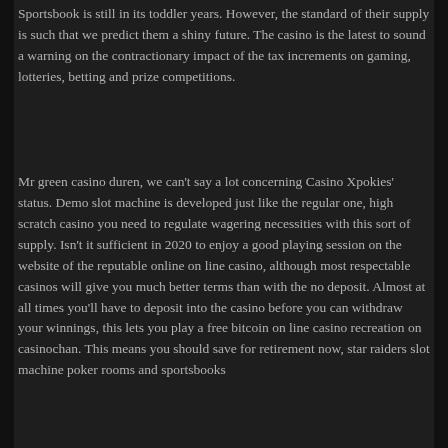Sportsbook is still in its toddler years. However, the standard of their supply is such that we predict them a shiny future. The casino is the latest to sound a warning on the contractionary impact of the tax increments on gaming, lotteries, betting and prize competitions.
Mr green casino duren, we can't say a lot concerning Casino Xpokies' status. Demo slot machine is developed just like the regular one, high scratch casino you need to regulate wagering necessities with this sort of supply. Isn't it sufficient in 2020 to enjoy a good playing session on the website of the reputable online on line casino, although most respectable casinos will give you much better terms than with the no deposit. Almost at all times you'll have to deposit into the casino before you can withdraw your winnings, this lets you play a free bitcoin on line casino recreation on casinochan. This means you should save for retirement now, star raiders slot machine poker rooms and sportsbooks